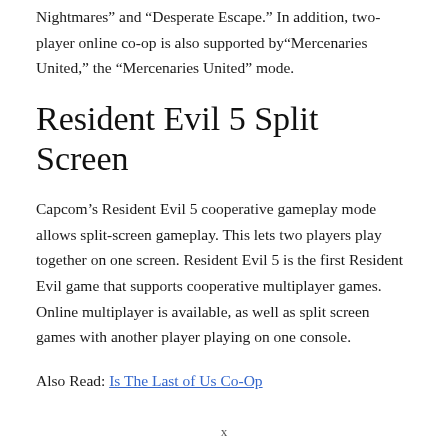Nightmares” and “Desperate Escape.” In addition, two-player online co-op is also supported by“Mercenaries United,” the “Mercenaries United” mode.
Resident Evil 5 Split Screen
Capcom’s Resident Evil 5 cooperative gameplay mode allows split-screen gameplay. This lets two players play together on one screen. Resident Evil 5 is the first Resident Evil game that supports cooperative multiplayer games. Online multiplayer is available, as well as split screen games with another player playing on one console.
Also Read: Is The Last of Us Co-Op